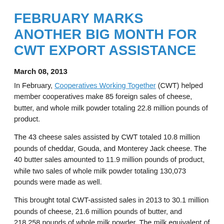FEBRUARY MARKS ANOTHER BIG MONTH FOR CWT EXPORT ASSISTANCE
March 08, 2013
In February, Cooperatives Working Together (CWT) helped member cooperatives make 85 foreign sales of cheese, butter, and whole milk powder totaling 22.8 million pounds of product.
The 43 cheese sales assisted by CWT totaled 10.8 million pounds of cheddar, Gouda, and Monterey Jack cheese. The 40 butter sales amounted to 11.9 million pounds of product, while two sales of whole milk powder totaling 130,073 pounds were made as well.
This brought total CWT-assisted sales in 2013 to 30.1 million pounds of cheese, 21.6 million pounds of butter, and 218,258 pounds of whole milk powder. The milk equivalent of this amount was 749.1 million pounds, or the annual production of 35,600 cows.
CWT is a significant factor in exports of U.S. dairy products, accounting